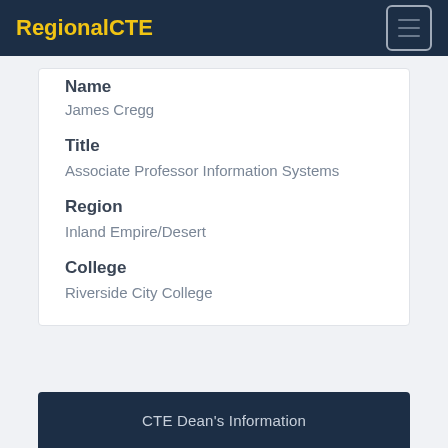RegionalCTE
Name
James Cregg
Title
Associate Professor Information Systems
Region
Inland Empire/Desert
College
Riverside City College
CTE Dean's Information